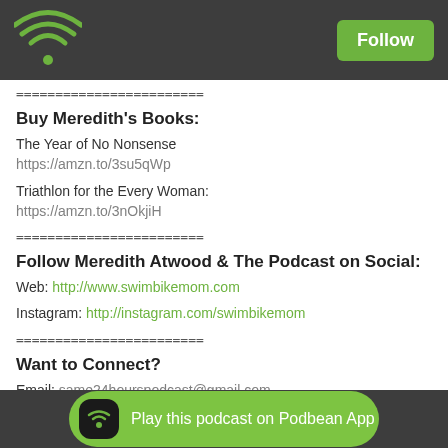Follow
========================
Buy Meredith's Books:
The Year of No Nonsense
https://amzn.to/3su5qWp
Triathlon for the Every Woman:
https://amzn.to/3nOkjiH
========================
Follow Meredith Atwood & The Podcast on Social:
Web: http://www.swimbikemom.com
Instagram: http://instagram.com/swimbikemom
========================
Want to Connect?
Email: same24hourspodcast@gmail.com
========
Credits:
Play this podcast on Podbean App